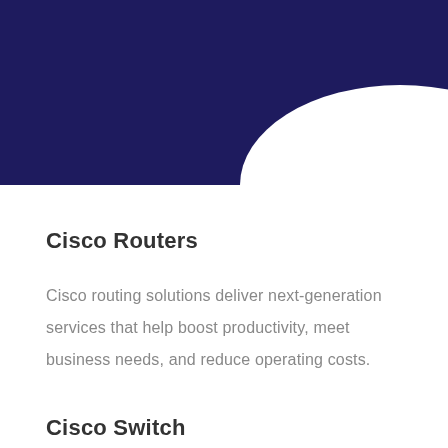[Figure (illustration): Dark navy/indigo semi-circle or rounded blob shape occupying the top portion of the page, appearing as a decorative background graphic element.]
Cisco Routers
Cisco routing solutions deliver next-generation services that help boost productivity, meet business needs, and reduce operating costs.
Cisco Switch